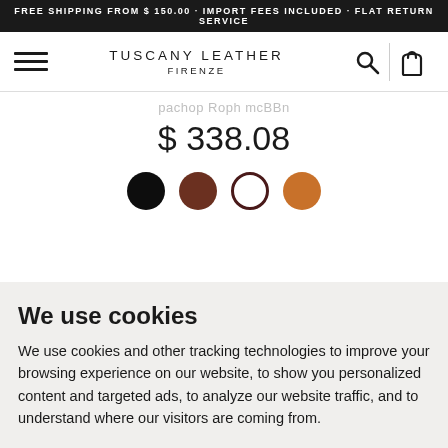FREE SHIPPING FROM $ 150.00 · IMPORT FEES INCLUDED · FLAT RETURN SERVICE
[Figure (screenshot): Navigation bar with hamburger menu icon on left, Tuscany Leather Firenze brand name in center, search and shopping bag icons on right]
$ 338.08
[Figure (other): Four color swatches: black, dark brown, off-white/cream with dark border, and tan/orange]
We use cookies
We use cookies and other tracking technologies to improve your browsing experience on our website, to show you personalized content and targeted ads, to analyze our website traffic, and to understand where our visitors are coming from.